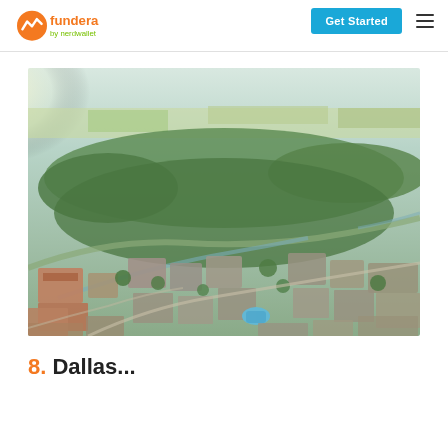fundera by nerdwallet | Get Started
[Figure (photo): Aerial drone photo of a suburban neighborhood with densely packed houses, green trees, roads winding through residential areas, and open fields in the distance under a hazy sky]
8. Dallas...